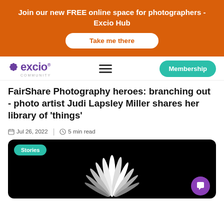[Figure (infographic): Orange banner with text: Join our new FREE online space for photographers - Excio Hub, and a white rounded button reading Take me there in orange text]
[Figure (logo): Excio Community logo with purple star-like icon and purple text excio with registered trademark, subtitle COMMUNITY]
FairShare Photography heroes: branching out - photo artist Judi Lapsley Miller shares her library of 'things'
Jul 26, 2022  |  5 min read
[Figure (photo): Dark/black background image with white feather-like plant forms, tagged with a teal 'Stories' badge in top left, and a purple chat bubble icon in bottom right]